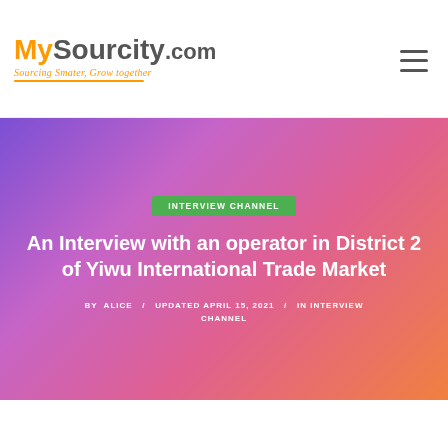[Figure (logo): MySourcity.com logo with tagline 'Sourcing Smater, Grow together' in orange and gray, with orange underline]
[Figure (other): Hamburger menu icon (three horizontal lines) in top right corner]
INTERVIEW CHANNEL
An Interview with an operator in District 2 of Yiwu International Trade Market
BY ALICE / UPDATED APRIL 15, 2021 / IN INTERVIEW CHANNEL